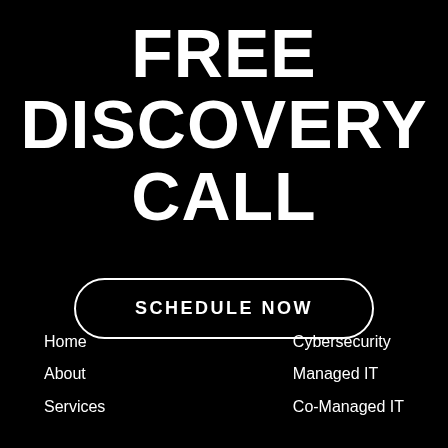FREE DISCOVERY CALL
SCHEDULE NOW
Home
About
Services
Cybersecurity
Managed IT
Co-Managed IT